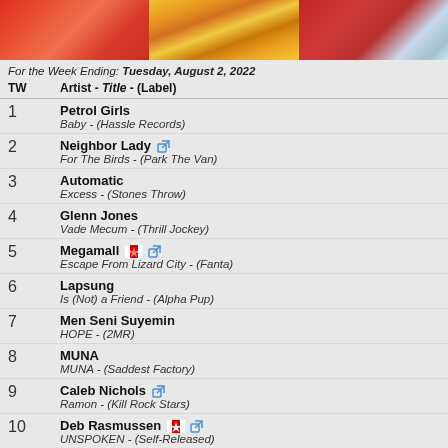[Figure (photo): Three album cover images in a row: orange/red abstract art, colorful collage of small objects, and a figure playing instrument on blue/red background]
For the Week Ending: Tuesday, August 2, 2022
| TW | Artist - Title - (Label) |
| --- | --- |
| 1 | Petrol Girls
Baby - (Hassle Records) |
| 2 | Neighbor Lady
For The Birds - (Park The Van) |
| 3 | Automatic
Excess - (Stones Throw) |
| 4 | Glenn Jones
Vade Mecum - (Thrill Jockey) |
| 5 | Megamall 🍁
Escape From Lizard City - (Fanta) |
| 6 | Lapsung
Is (Not) a Friend - (Alpha Pup) |
| 7 | Men Seni Suyemin
HOPE - (2MR) |
| 8 | MUNA
MUNA - (Saddest Factory) |
| 9 | Caleb Nichols
Ramon - (Kill Rock Stars) |
| 10 | Deb Rasmussen 🍁
UNSPOKEN - (Self-Released) |